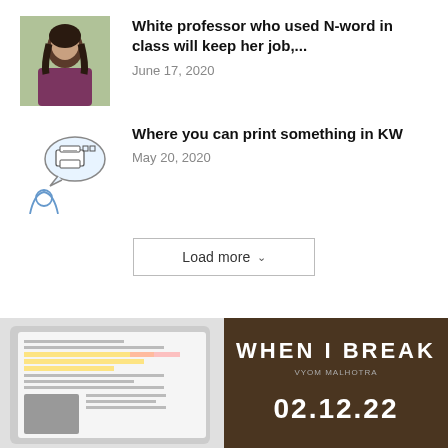[Figure (photo): Photo of a woman with dark hair wearing a striped top, outdoors]
White professor who used N-word in class will keep her job,...
June 17, 2020
[Figure (illustration): Illustration of a person with a speech bubble containing a printer]
Where you can print something in KW
May 20, 2020
Load more
[Figure (screenshot): Screenshot of a tablet or document with highlighted text]
[Figure (photo): Dark brown background with white text reading WHEN I BREAK, VYOM MALHOTRA, 02.12.22]